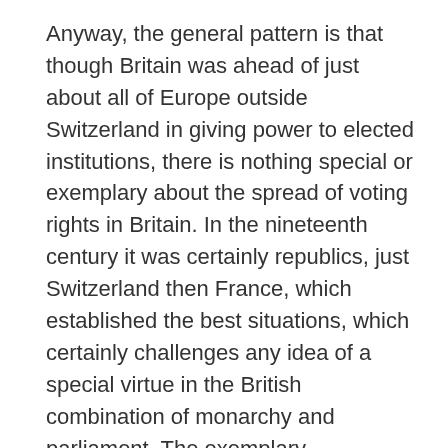Anyway, the general pattern is that though Britain was ahead of just about all of Europe outside Switzerland in giving power to elected institutions, there is nothing special or exemplary about the spread of voting rights in Britain. In the nineteenth century it was certainly republics, just Switzerland then France, which established the best situations, which certainly challenges any idea of a special virtue in the British combination of monarchy and parliament. The exemplary monarchical state was Denmark rather than Britain.
Moving onto the First World War, as has